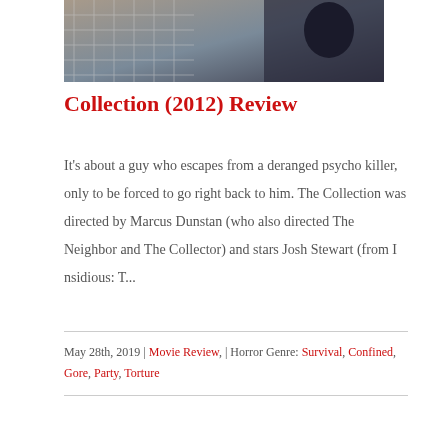[Figure (photo): Movie still image showing a scene with a cage/grid and a dark figure]
Collection (2012) Review
It's about a guy who escapes from a deranged psycho killer, only to be forced to go right back to him. The Collection was directed by Marcus Dunstan (who also directed The Neighbor and The Collector) and stars Josh Stewart (from I nsidious: T...
May 28th, 2019 | Movie Review, | Horror Genre: Survival, Confined, Gore, Party, Torture